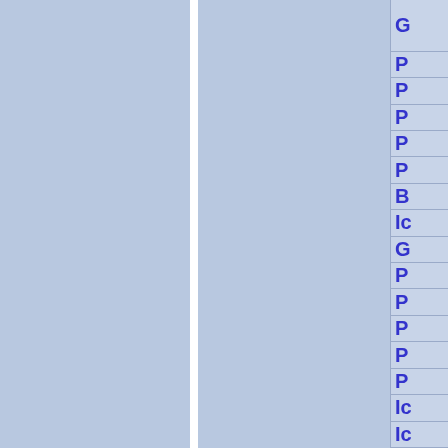[Figure (screenshot): Navigation panel on the right side showing partially visible blue text labels on a light blue-gray background. The left portion shows two large blue-gray rectangular panels separated by a white vertical divider. The right column contains a list of navigation items with blue text (partially cut off): G, P, P, P, P, P, B, Ic, G, P, P, P, P, P, Ic, Ic]